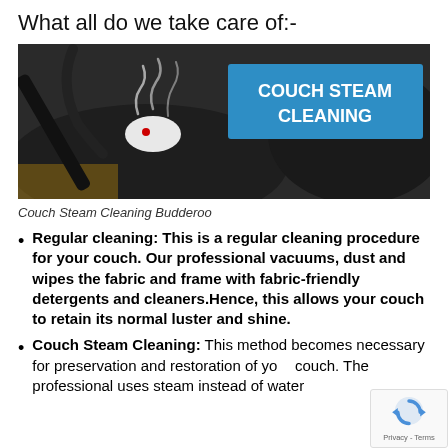What all do we take care of:-
[Figure (photo): A dark couch being steam cleaned with a professional steam cleaning wand, with visible steam. A blue banner overlay reads 'COUCH STEAM CLEANING' in bold white text.]
Couch Steam Cleaning Budderoo
Regular cleaning: This is a regular cleaning procedure for your couch. Our professional vacuums, dust and wipes the fabric and frame with fabric-friendly detergents and cleaners.Hence, this allows your couch to retain its normal luster and shine.
Couch Steam Cleaning: This method becomes necessary for preservation and restoration of your couch. The professional uses steam instead of water